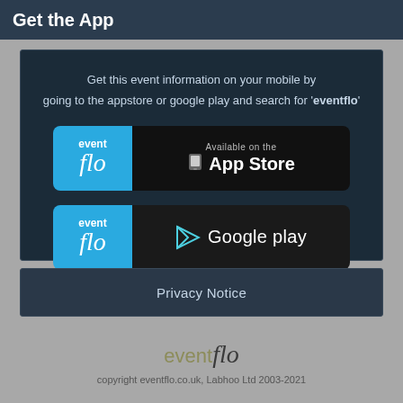Get the App
Get this event information on your mobile by going to the appstore or google play and search for 'eventflo'
[Figure (screenshot): App Store download button with eventflo logo on the left (blue background) and 'Available on the App Store' on the right (black background)]
[Figure (screenshot): Google Play download button with eventflo logo on the left (blue background) and 'Google play' on the right (dark background) with play triangle icon]
Privacy Notice
[Figure (logo): eventflo logo in grey and dark script font]
copyright eventflo.co.uk, Labhoo Ltd 2003-2021